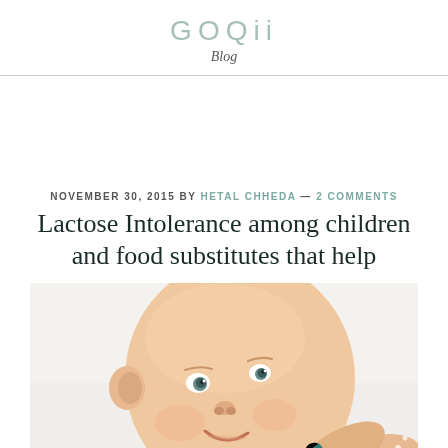GOQii Blog
NOVEMBER 30, 2015 BY HETAL CHHEDA — 2 COMMENTS
Lactose Intolerance among children and food substitutes that help
[Figure (photo): A smiling baby being fed with a teal/turquoise striped spoon or straw, photographed with a light background]